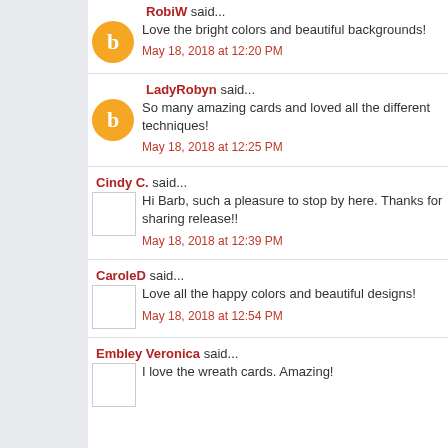RobiW said...
Love the bright colors and beautiful backgrounds!
May 18, 2018 at 12:20 PM
LadyRobyn said...
So many amazing cards and loved all the different techniques!
May 18, 2018 at 12:25 PM
Cindy C. said...
Hi Barb, such a pleasure to stop by here. Thanks for sharing release!!
May 18, 2018 at 12:39 PM
CaroleD said...
Love all the happy colors and beautiful designs!
May 18, 2018 at 12:54 PM
Embley Veronica said...
I love the wreath cards. Amazing!